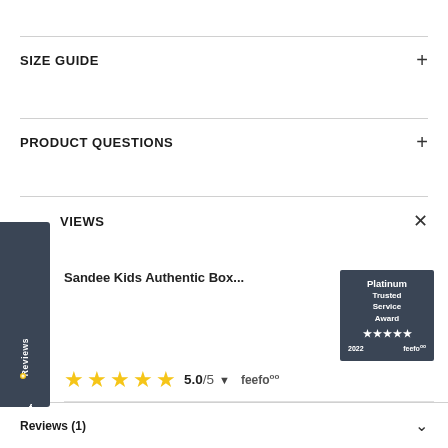SIZE GUIDE
PRODUCT QUESTIONS
REVIEWS
[Figure (screenshot): Feefo reviews widget showing product 'Sandee Kids Authentic Box...' with 5.0/5 star rating and Platinum Trusted Service Award 2022 badge]
Reviews (1)